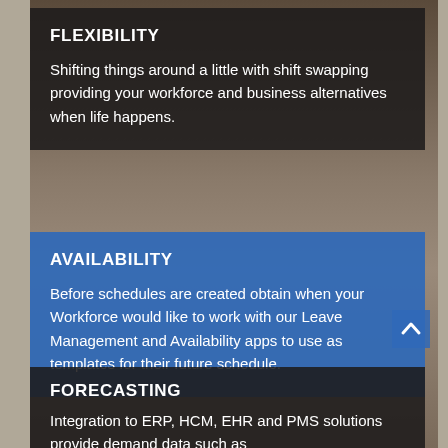FLEXIBILITY
Shifting things around a little with shift swapping providing your workforce and business alternatives when life happens.
AVAILABILITY
Before schedules are created obtain when your Workforce would like to work with our Leave Management and Availability apps to use as templates for their future schedule.
FORECASTING
Integration to ERP, HCM, EHR and PMS solutions provide demand data such as